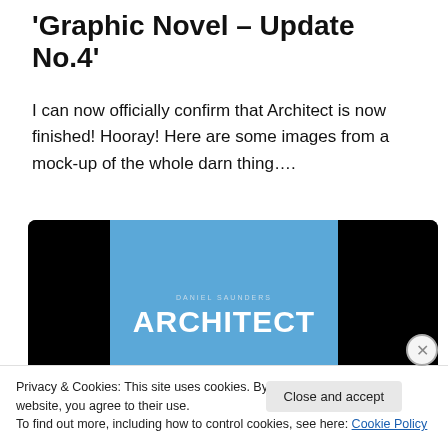'Graphic Novel – Update No.4'
I can now officially confirm that Architect is now finished! Hooray! Here are some images from a mock-up of the whole darn thing….
[Figure (photo): A dark laptop/tablet frame showing the cover of the graphic novel 'Architect' by Daniel Saunders. The cover has a blue background with the bold white title 'ARCHITECT' and small text 'DANIEL SAUNDERS' above it. Black panels flank the blue cover panel. A green circle is partially visible at the bottom.]
Privacy & Cookies: This site uses cookies. By continuing to use this website, you agree to their use.
To find out more, including how to control cookies, see here: Cookie Policy
Close and accept